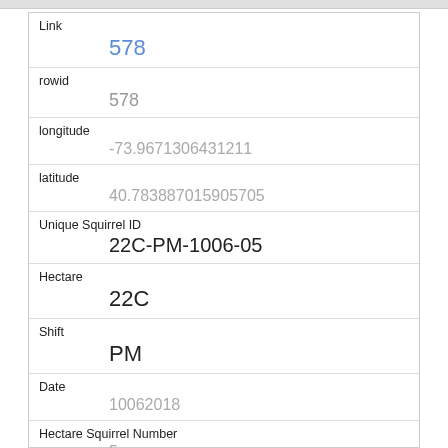| Field | Value |
| --- | --- |
| Link | 578 |
| rowid | 578 |
| longitude | -73.9671306431211 |
| latitude | 40.783887015905705 |
| Unique Squirrel ID | 22C-PM-1006-05 |
| Hectare | 22C |
| Shift | PM |
| Date | 10062018 |
| Hectare Squirrel Number | 5 |
| Age | Juvenile |